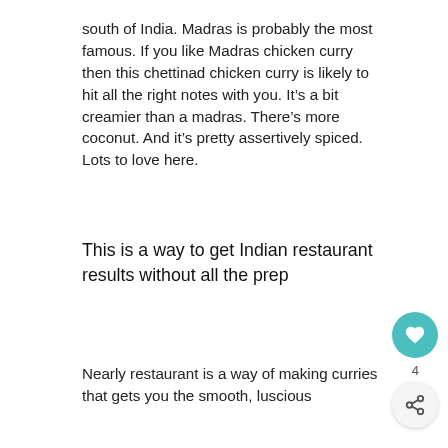south of India. Madras is probably the most famous. If you like Madras chicken curry then this chettinad chicken curry is likely to hit all the right notes with you. It's a bit creamier than a madras. There's more coconut. And it's pretty assertively spiced. Lots to love here.
This is a way to get Indian restaurant results without all the prep
Nearly restaurant is a way of making curries that gets you the smooth, luscious